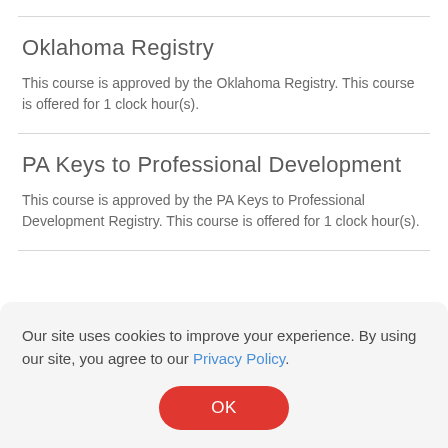Oklahoma Registry
This course is approved by the Oklahoma Registry. This course is offered for 1 clock hour(s).
PA Keys to Professional Development
This course is approved by the PA Keys to Professional Development Registry. This course is offered for 1 clock hour(s).
Our site uses cookies to improve your experience. By using our site, you agree to our Privacy Policy.